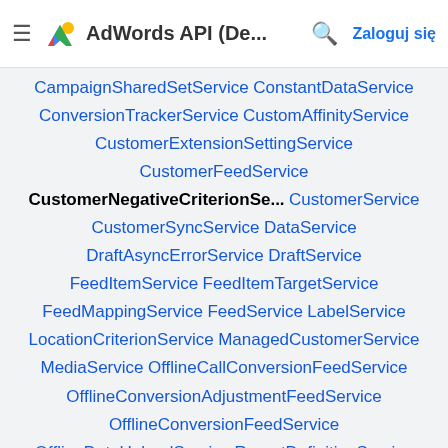AdWords API (De... Zaloguj się
CampaignSharedSetService
ConstantDataService
ConversionTrackerService
CustomAffinityService
CustomerExtensionSettingService
CustomerFeedService
CustomerNegativeCriterionSe...
CustomerService
CustomerSyncService
DataService
DraftAsyncErrorService
DraftService
FeedItemService
FeedItemTargetService
FeedMappingService
FeedService
LabelService
LocationCriterionService
ManagedCustomerService
MediaService
OfflineCallConversionFeedService
OfflineConversionAdjustmentFeedService
OfflineConversionFeedService
OfflineDataUploadService
ReportDefinitionService
SharedCriterionService
SharedSetService
TargetingIdeaService
TrafficEstimatorService
TrialAsyncErrorService
TrialService